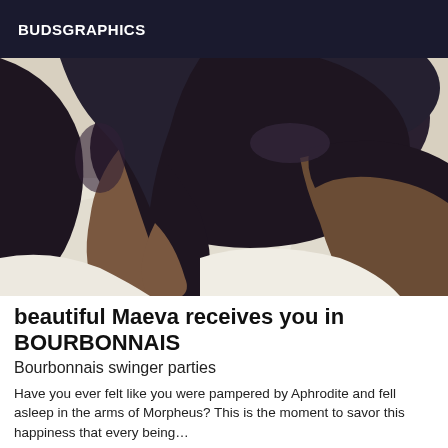BUDSGRAPHICS
[Figure (photo): A close-up photo of legs on white bedding, wearing dark tights/stockings]
beautiful Maeva receives you in BOURBONNAIS
Bourbonnais swinger parties
Have you ever felt like you were pampered by Aphrodite and fell asleep in the arms of Morpheus? This is the moment to savor this happiness that every being…